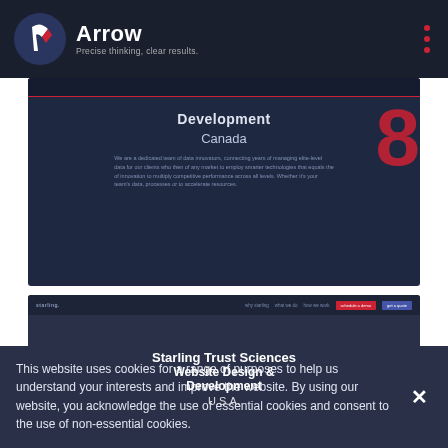Arrow – Precise thinking, clear results.
[Figure (screenshot): Screenshot of a website for a Canada-based Website Design & Development service with dark navy background, Development and Canada text centered, small body text, and a large red stylized letter on the right side.]
[Figure (screenshot): Screenshot of Starling Trust Sciences Website Design & Development USA page with dark blurred background, navigation bar at top, bold centered title text, and left-side heading 'Don't solve problems Prevent them.' with body text below.]
This website uses cookies for a range of purposes to help us understand your interests and improve the website. By using our website, you acknowledge the use of essential cookies and consent to the use of non-essential cookies.